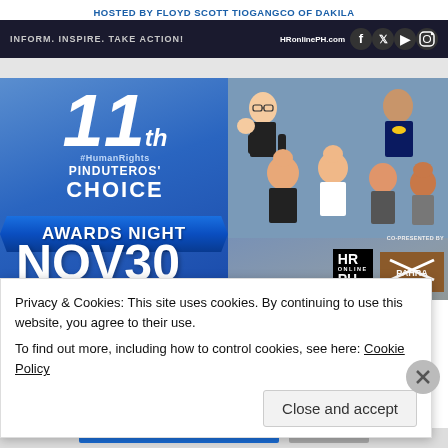HOSTED BY FLOYD SCOTT TIOGANGCO OF DAKILA
INFORM. INSPIRE. TAKE ACTION! HRonlinePH.com
[Figure (illustration): 11th #HumanRights Pinduteros' Choice Awards Night NOV30 promotional banner with cartoon characters, HR Online PH logo, co-presented by PAHRA]
Privacy & Cookies: This site uses cookies. By continuing to use this website, you agree to their use.
To find out more, including how to control cookies, see here: Cookie Policy
Close and accept